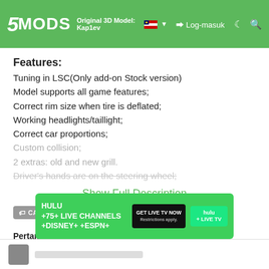5MODS — Original 3D Model: Kap1ev | Log-masuk
Features:
Tuning in LSC(Only add-on Stock version)
Model supports all game features;
Correct rim size when tire is deflated;
Working headlights/taillight;
Correct car proportions;
Custom collision;
2 extras: old and new grill.
Driver's hands are on the steering wheel;
Show Full Description
CAR   LEXUS   FEATURED   ADD-ON
Pertama dimuat naik: 21 Mac, 2019
Tarikh Kemaskini: 22 Mac, 2019
Last Downloaded: 22 minit yang lalu
[Figure (other): Hulu advertisement banner: HULU +75+ LIVE CHANNELS +DISNEY+ +ESPN+, GET LIVE TV NOW, hulu + LIVE TV]